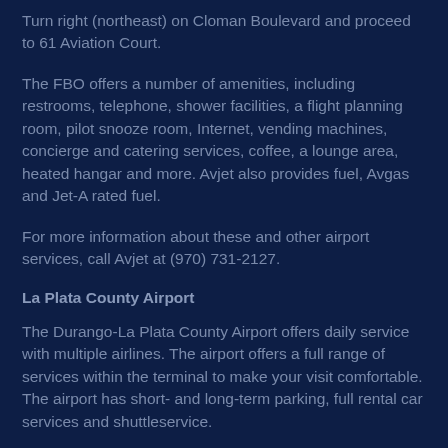Turn right (northeast) on Cloman Boulevard and proceed to 61 Aviation Court.
The FBO offers a number of amenities, including restrooms, telephone, shower facilities, a flight planning room, pilot snooze room, Internet, vending machines, concierge and catering services, coffee, a lounge area, heated hangar and more. Avjet also provides fuel, Avgas and Jet-A rated fuel.
For more information about these and other airport services, call Avjet at (970) 731-2127.
La Plata County Airport
The Durango-La Plata County Airport offers daily service with multiple airlines. The airport offers a full range of services within the terminal to make your visit comfortable. The airport has short- and long-term parking, full rental car services and shuttleservice.